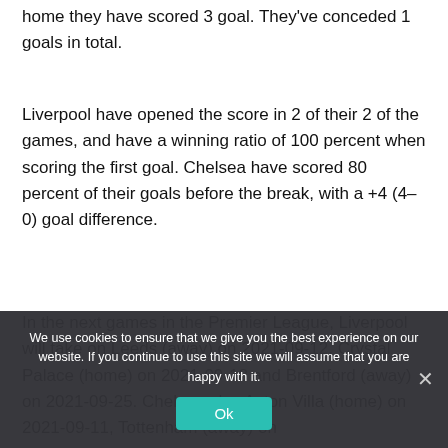home they have scored 3 goal. They've conceded 1 goals in total.
Liverpool have opened the score in 2 of their 2 of the games, and have a winning ratio of 100 percent when scoring the first goal. Chelsea have scored 80 percent of their goals before the break, with a +4 (4–0) goal difference.
In the next games in the Premier League, Liverpool will take on Leeds (away) on 2021-09-12, Crystal Palace (home) on 2021-09-18 and Brentford (away) on 2021-09-25. Chelsea play Aston Villa (home) on 2021-09-11, Tottenham (away) on 2021-09-19 and Manchester City (home) on 2021-09-25.
We use cookies to ensure that we give you the best experience on our website. If you continue to use this site we will assume that you are happy with it.